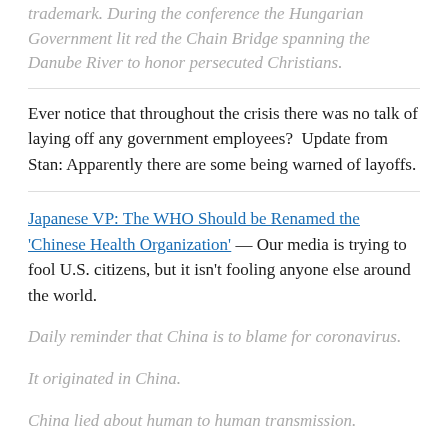trademark. During the conference the Hungarian Government lit red the Chain Bridge spanning the Danube River to honor persecuted Christians.
Ever notice that throughout the crisis there was no talk of laying off any government employees?  Update from Stan: Apparently there are some being warned of layoffs.
Japanese VP: The WHO Should be Renamed the 'Chinese Health Organization' — Our media is trying to fool U.S. citizens, but it isn't fooling anyone else around the world.
Daily reminder that China is to blame for coronavirus.
It originated in China.
China lied about human to human transmission.